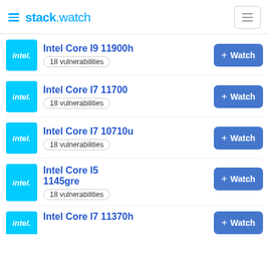stack.watch
Intel Core I9 11900h — 18 vulnerabilities
Intel Core I7 11700 — 18 vulnerabilities
Intel Core I7 10710u — 18 vulnerabilities
Intel Core I5 1145gre — 18 vulnerabilities
Intel Core I7 11370h